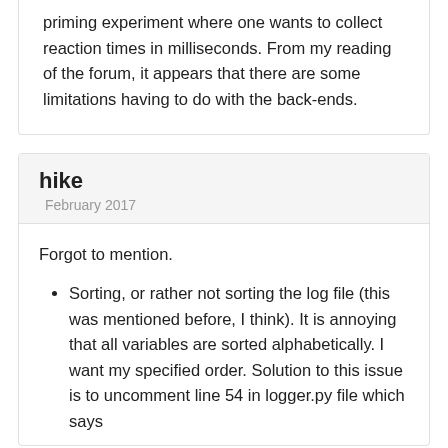priming experiment where one wants to collect reaction times in milliseconds. From my reading of the forum, it appears that there are some limitations having to do with the back-ends.
hike
February 2017
Forgot to mention.
Sorting, or rather not sorting the log file (this was mentioned before, I think). It is annoying that all variables are sorted alphabetically. I want my specified order. Solution to this issue is to uncomment line 54 in logger.py file which says